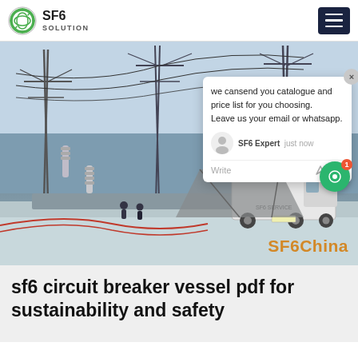SF6 SOLUTION
[Figure (photo): Electrical substation in winter with high-voltage transmission lines, insulators, and a white service truck. Snow covers the ground. A chat popup overlay appears on the right side showing a message: 'we can send you catalogue and price list for you choosing. Leave us your email or whatsapp.' with SF6 Expert avatar. SF6China watermark in orange at bottom right.]
sf6 circuit breaker vessel pdf for sustainability and safety